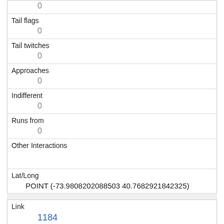|  | 0 |
| Tail flags | 0 |
| Tail twitches | 0 |
| Approaches | 0 |
| Indifferent | 0 |
| Runs from | 0 |
| Other Interactions |  |
| Lat/Long | POINT (-73.9808202088503 40.7682921842325) |
| Link | 1184 |
| rowid | 1184 |
| longitude |  |